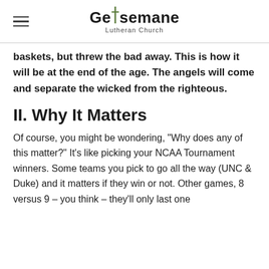Gethsemane Lutheran Church
baskets, but threw the bad away. This is how it will be at the end of the age. The angels will come and separate the wicked from the righteous.
II. Why It Matters
Of course, you might be wondering, "Why does any of this matter?" It's like picking your NCAA Tournament winners. Some teams you pick to go all the way (UNC & Duke) and it matters if they win or not. Other games, 8 versus 9 – you think – they'll only last one